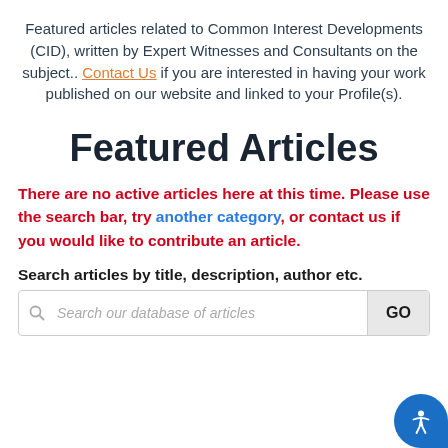Featured articles related to Common Interest Developments (CID), written by Expert Witnesses and Consultants on the subject.. Contact Us if you are interested in having your work published on our website and linked to your Profile(s).
Featured Articles
There are no active articles here at this time. Please use the search bar, try another category, or contact us if you would like to contribute an article.
Search articles by title, description, author etc.